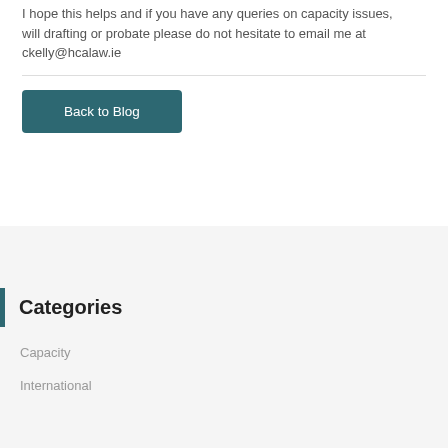I hope this helps and if you have any queries on capacity issues, will drafting or probate please do not hesitate to email me at ckelly@hcalaw.ie
Back to Blog
Categories
Capacity
International